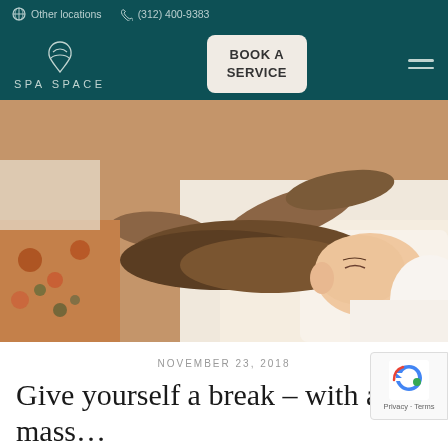Other locations   (312) 400-9383
SPA SPACE   BOOK A SERVICE
[Figure (photo): A woman lying face down on a massage table with eyes closed while a therapist's hands massage her head and neck. The client has brown hair and is covered with a white sheet. The therapist appears to be wearing a floral-patterned top.]
NOVEMBER 23, 2018
Give yourself a break – with a spa mass…